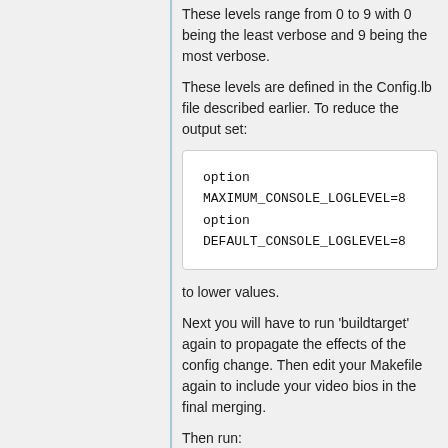These levels range from 0 to 9 with 0 being the least verbose and 9 being the most verbose.
These levels are defined in the Config.lb file described earlier. To reduce the output set:
option MAXIMUM_CONSOLE_LOGLEVEL=8
option DEFAULT_CONSOLE_LOGLEVEL=8
to lower values.
Next you will have to run 'buildtarget' again to propagate the effects of the config change. Then edit your Makefile again to include your video bios in the final merging.
Then run: